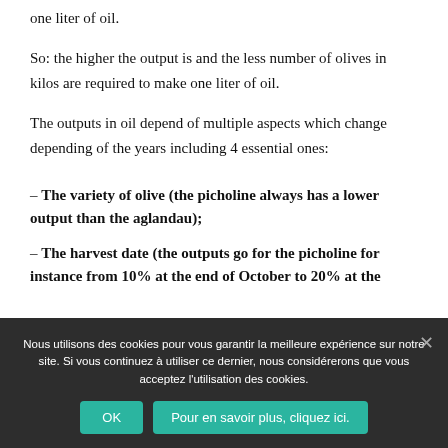one liter of oil.
So: the higher the output is and the less number of olives in kilos are required to make one liter of oil.
The outputs in oil depend of multiple aspects which change depending of the years including 4 essential ones:
– The variety of olive (the picholine always has a lower output than the aglandau);
– The harvest date (the outputs go for the picholine for instance from 10% at the end of October to 20% at the ...
Nous utilisons des cookies pour vous garantir la meilleure expérience sur notre site. Si vous continuez à utiliser ce dernier, nous considérerons que vous acceptez l'utilisation des cookies.